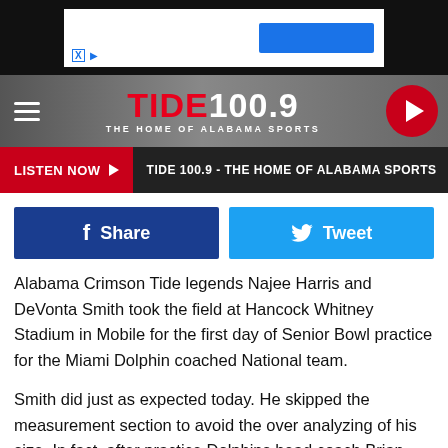[Figure (screenshot): Ad banner area with dark background, white inner box, blue button, and X/skip icons]
[Figure (logo): Tide 100.9 - The Home of Alabama Sports navigation bar with hamburger menu and play button]
LISTEN NOW ▶  TIDE 100.9 - THE HOME OF ALABAMA SPORTS
f Share
🐦 Tweet
Alabama Crimson Tide legends Najee Harris and DeVonta Smith took the field at Hancock Whitney Stadium in Mobile for the first day of Senior Bowl practice for the Miami Dolphin coached National team.
Smith did just as expected today. He skipped the measurement section to avoid the over analyzing of his size. In fact, after practice Dolphins head coach Brian Flores dismissed the idea that Smith's small stature would impede his performance.